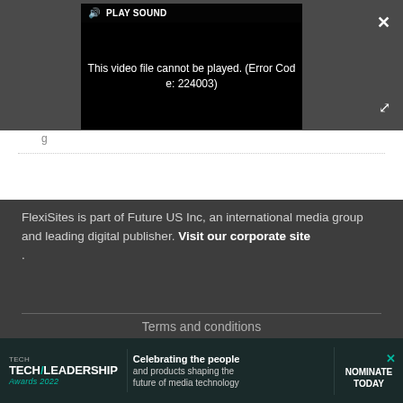[Figure (screenshot): Video player overlay showing 'PLAY SOUND' button at top, with error message 'This video file cannot be played. (Error Code: 224003)' on black background. Dark gray surrounding area with X close button top right and expand icon.]
g
FlexiSites is part of Future US Inc, an international media group and leading digital publisher. Visit our corporate site .
Terms and conditions
[Figure (screenshot): Tech Leadership Awards 2022 advertisement banner. Shows logo with teal slash, text 'Celebrating the people and products shaping the future of media technology', and 'NOMINATE TODAY' call to action button with X close icon.]